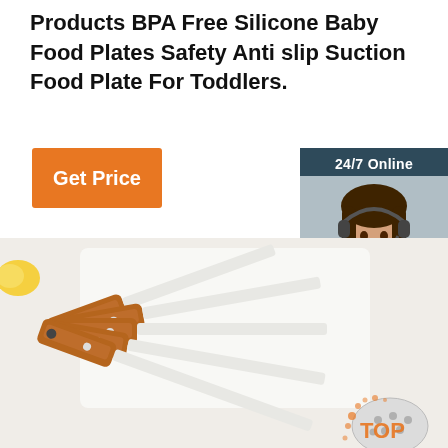Products BPA Free Silicone Baby Food Plates Safety Anti slip Suction Food Plate For Toddlers.
[Figure (illustration): Orange 'Get Price' button on the left side]
[Figure (illustration): Customer support chat widget with '24/7 Online' label, photo of a woman with headset, 'Click here for free chat!' text, and orange 'QUOTATION' button]
[Figure (photo): Photo of stainless steel kitchen utensils with wooden handles arranged on a white surface, with a slotted spoon visible at bottom right with an orange TOP logo watermark]